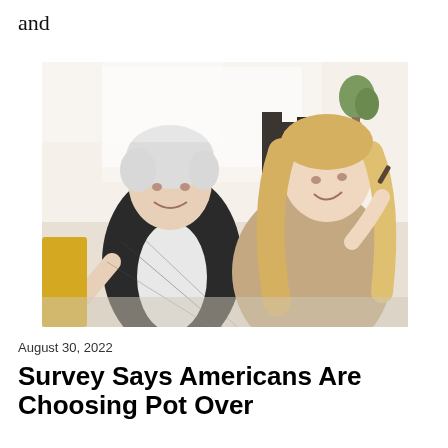and
[Figure (photo): Two women sitting together, both holding what appear to be cannabis joints. The woman on the left has short white/blonde hair and wears a black plaid shirt. The woman on the right has long blonde hair and wears a beige/tan coat. They are in a bright indoor setting, smiling and looking upward.]
August 30, 2022
Survey Says Americans Are Choosing Pot Over